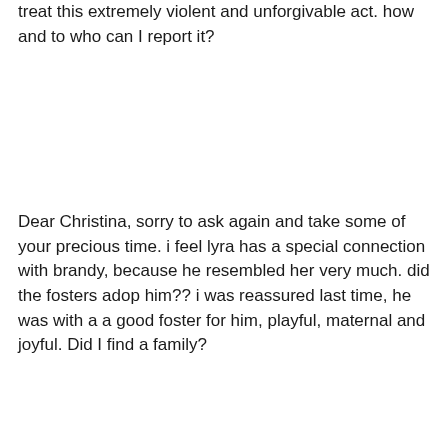treat this extremely violent and unforgivable act. how and to who can I report it?
Dear Christina, sorry to ask again and take some of your precious time. i feel lyra has a special connection with brandy, because he resembled her very much. did the fosters adop him?? i was reassured last time, he was with a a good foster for him, playful, maternal and joyful. Did I find a family?